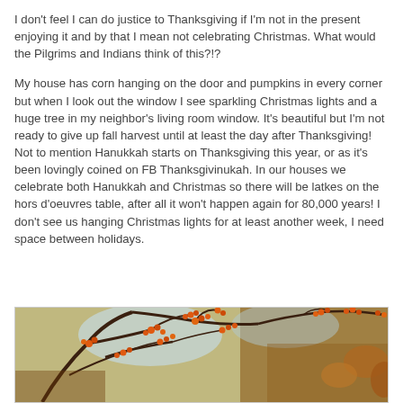I don't feel I can do justice to Thanksgiving if I'm not in the present enjoying it and by that I mean not celebrating Christmas. What would the Pilgrims and Indians think of this?!?
My house has corn hanging on the door and pumpkins in every corner but when I look out the window I see sparkling Christmas lights and a huge tree in my neighbor's living room window. It's beautiful but I'm not ready to give up fall harvest until at least the day after Thanksgiving!  Not to mention Hanukkah starts on Thanksgiving this year, or as it's been lovingly coined on FB Thanksgivinukah.  In our houses we celebrate both Hanukkah and Christmas so there will be latkes on the hors d'oeuvres table, after all it won't happen again for 80,000 years!  I don't see us hanging Christmas lights for at least another week, I need space between holidays.
[Figure (photo): Photo of autumn tree branches with orange/red berries against a blurred background]